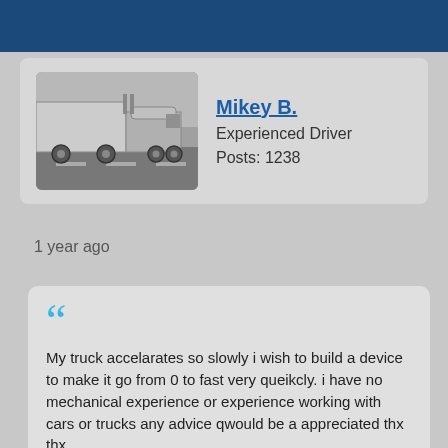[Figure (other): Dark blue horizontal banner at top of page]
[Figure (photo): Black and white photograph of a large semi-truck / big rig on a road]
Mikey B.
Experienced Driver
Posts: 1238
1 year ago
My truck accelarates so slowly i wish to build a device to make it go from 0 to fast very queikcly. i have no mechanical experience or experience working with cars or trucks any advice qwould be a appreciated thx thx.